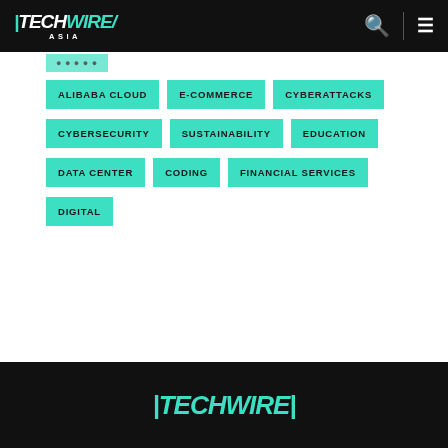TECHWIRE ASIA - navigation header with logo, search and menu icons
ALIBABA CLOUD
E-COMMERCE
CYBERATTACKS
CYBERSECURITY
SUSTAINABILITY
EDUCATION
DATA CENTER
CODING
FINANCIAL SERVICES
DIGITAL
TECHWIRE (footer logo)